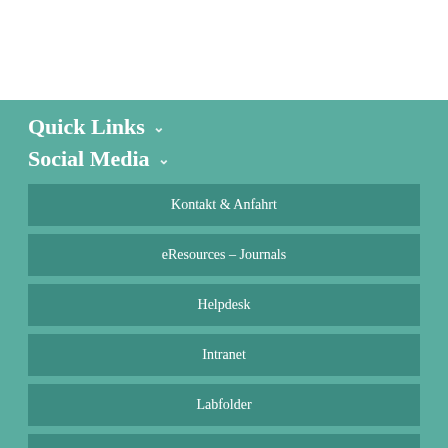Quick Links ∨
Social Media ∨
Kontakt & Anfahrt
eResources – Journals
Helpdesk
Intranet
Labfolder
Nextcloud